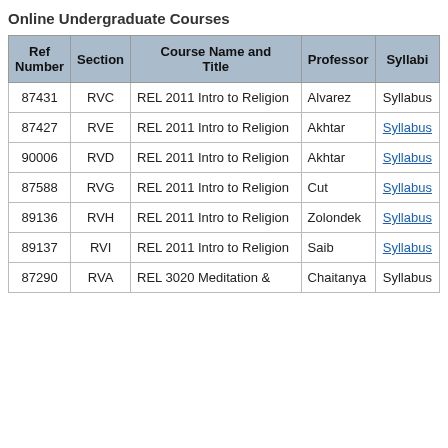Online Undergraduate Courses
| Ref Number | Section | Course Name and Title | Professor | Syllabi |
| --- | --- | --- | --- | --- |
| 87431 | RVC | REL 2011 Intro to Religion | Alvarez | Syllabus |
| 87427 | RVE | REL 2011 Intro to Religion | Akhtar | Syllabus |
| 90006 | RVD | REL 2011 Intro to Religion | Akhtar | Syllabus |
| 87588 | RVG | REL 2011 Intro to Religion | Cut | Syllabus |
| 89136 | RVH | REL 2011 Intro to Religion | Zolondek | Syllabus |
| 89137 | RVI | REL 2011 Intro to Religion | Saib | Syllabus |
| 87290 | RVA | REL 3020 Meditation & | Chaitanya | Syllabus |